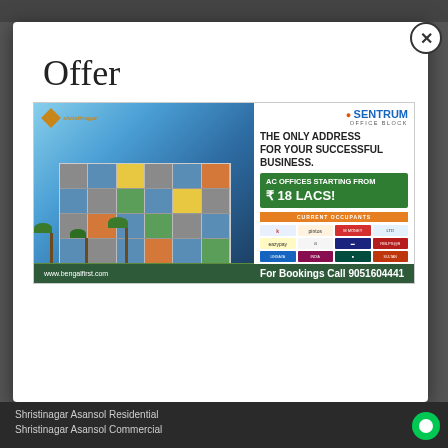Offer
[Figure (photo): Advertisement for Asansol Sentrum Office Block showing a modern multi-story commercial building with colorful facade panels, palm trees in foreground. Right side shows branding: 'THE ONLY ADDRESS FOR YOUR SUCCESSFUL BUSINESS. AC OFFICES STARTING FROM ₹18 LACS!' with current occupant logos. Footer: 'www.bengalfirst.com  For Bookings Call 9051604441']
Shristinagar Asansol Residential
Shristinagar Asansol Commercial